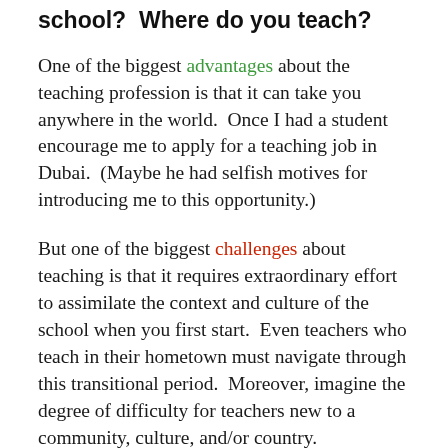school?  Where do you teach?
One of the biggest advantages about the teaching profession is that it can take you anywhere in the world.  Once I had a student encourage me to apply for a teaching job in Dubai.  (Maybe he had selfish motives for introducing me to this opportunity.)
But one of the biggest challenges about teaching is that it requires extraordinary effort to assimilate the context and culture of the school when you first start.  Even teachers who teach in their hometown must navigate through this transitional period.  Moreover, imagine the degree of difficulty for teachers new to a community, culture, and/or country.